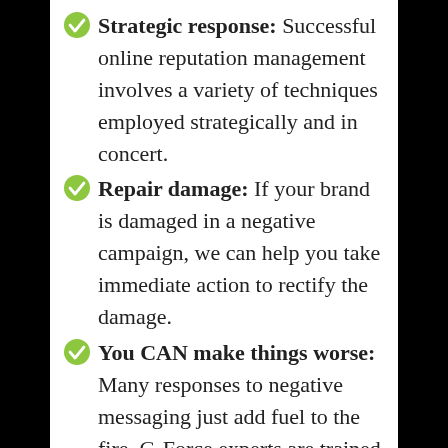Strategic response: Successful online reputation management involves a variety of techniques employed strategically and in concert.
Repair damage: If your brand is damaged in a negative campaign, we can help you take immediate action to rectify the damage.
You CAN make things worse: Many responses to negative messaging just add fuel to the fire. G-Force experts are trained not to make those